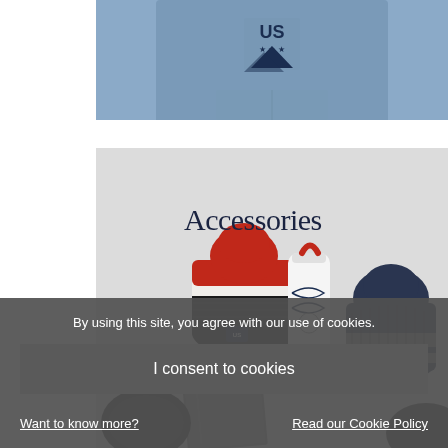[Figure (photo): Person wearing a blue US ski/snowboard team crewneck sweatshirt with logo on chest]
[Figure (photo): Accessories category image showing knit beanies (red/white/black and navy/white/gray), a white water bottle with red loop handle, a notebook, and other accessories on a light background with 'Accessories' text overlay]
By using this site, you agree with our use of cookies.
I consent to cookies
Want to know more?
Read our Cookie Policy